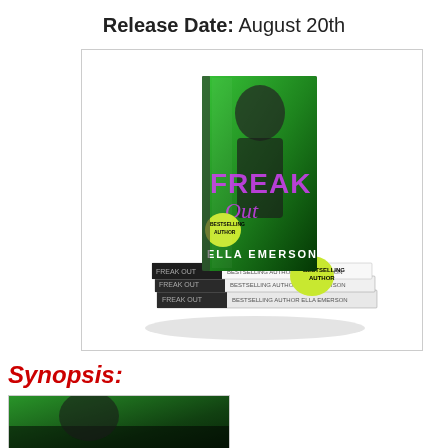Release Date: August 20th
[Figure (photo): Stack of books titled 'Freak Out' by Ella Emerson, Bestselling Author. The cover features a shirtless male figure with green-tinted dark background and purple stylized title text.]
Synopsis:
[Figure (photo): Partial image showing the bottom of a book cover with green and dark tones, cropped.]